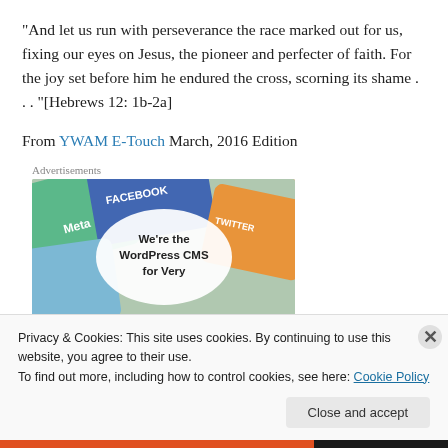“And let us run with perseverance the race marked out for us, fixing our eyes on Jesus, the pioneer and perfecter of faith. For the joy set before him he endured the cross, scorning its shame . . . ”[Hebrews 12: 1b-2a]
From YWAM E-Touch March, 2016 Edition
Advertisements
[Figure (other): Advertisement banner with social media app icons (Meta, Facebook, Twitter) and text: We’re the WordPress CMS for Very]
Privacy & Cookies: This site uses cookies. By continuing to use this website, you agree to their use.
To find out more, including how to control cookies, see here: Cookie Policy
Close and accept